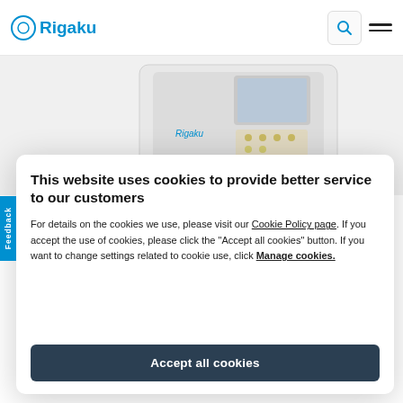Rigaku
[Figure (photo): Rigaku branded scientific instrument (white benchtop device with display and keypad) shown on a light grey background]
This website uses cookies to provide better service to our customers
For details on the cookies we use, please visit our Cookie Policy page. If you accept the use of cookies, please click the "Accept all cookies" button. If you want to change settings related to cookie use, click Manage cookies.
Accept all cookies